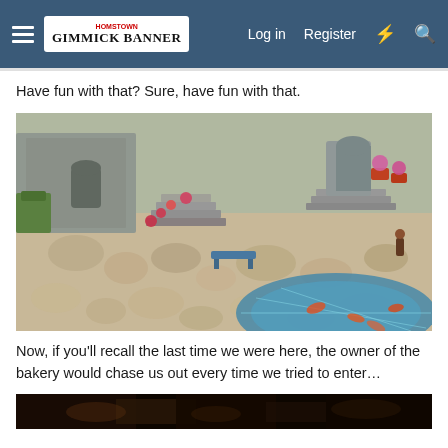Gimmick Banner — Log in  Register
Have fun with that? Sure, have fun with that.
[Figure (screenshot): In-game screenshot of a fantasy town area with stone pathways, stairs, flower pots, a decorative mosaic pool with orange fish motifs, and medieval-style buildings with arched doorways.]
Now, if you'll recall the last time we were here, the owner of the bakery would chase us out every time we tried to enter…
[Figure (screenshot): Partial view of a dark interior game screenshot at the bottom of the page.]